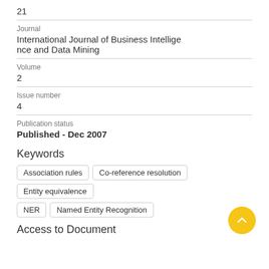21
Journal
International Journal of Business Intelligence and Data Mining
Volume
2
Issue number
4
Publication status
Published - Dec 2007
Keywords
Association rules
Co-reference resolution
Entity equivalence
NER
Named Entity Recognition
Access to Document